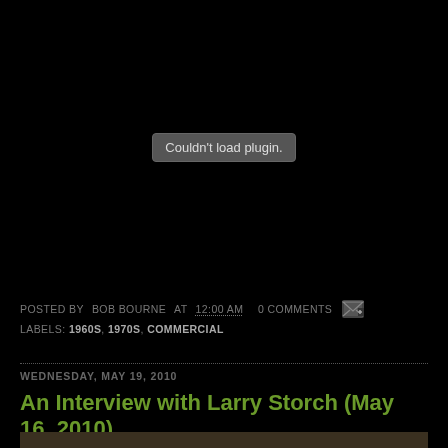[Figure (other): Embedded video plugin area showing 'Couldn't load plugin.' error message on black background]
POSTED BY BOB BOURNE AT 12:00 AM   0 COMMENTS
LABELS: 1960S, 1970S, COMMERCIAL
WEDNESDAY, MAY 19, 2010
An Interview with Larry Storch (May 16, 2010)
[Figure (photo): Partially visible thumbnail image at bottom of page]